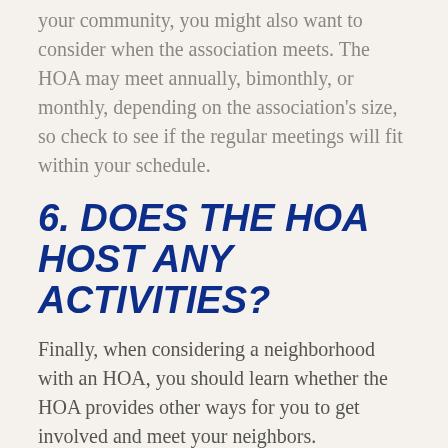your community, you might also want to consider when the association meets. The HOA may meet annually, bimonthly, or monthly, depending on the association's size, so check to see if the regular meetings will fit within your schedule.
6. DOES THE HOA HOST ANY ACTIVITIES?
Finally, when considering a neighborhood with an HOA, you should learn whether the HOA provides other ways for you to get involved and meet your neighbors.